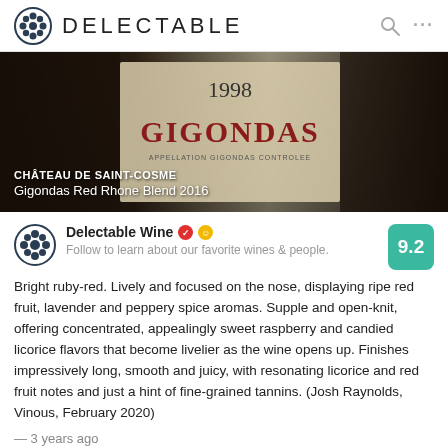DELECTABLE
[Figure (photo): Wine bottle label photograph showing 1998 Gigondas label with CHÂTEAU DE SAINT-COSME branding and text overlay: 'CHÂTEAU DE SAINT-COSME / Gigondas Red Rhone Blend 2016']
Delectable Wine • Follow to learn about our favorite wines & people.
Bright ruby-red. Lively and focused on the nose, displaying ripe red fruit, lavender and peppery spice aromas. Supple and open-knit, offering concentrated, appealingly sweet raspberry and candied licorice flavors that become livelier as the wine opens up. Finishes impressively long, smooth and juicy, with resonating licorice and red fruit notes and just a hint of fine-grained tannins. (Josh Raynolds, Vinous, February 2020)
— 3 years ago